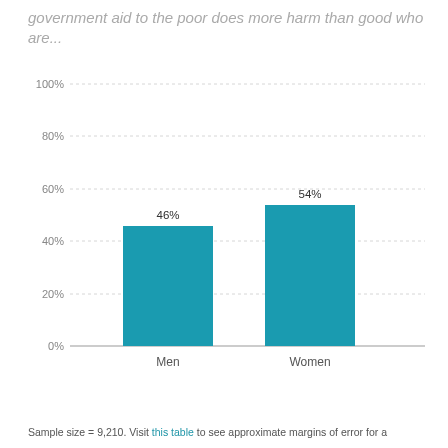government aid to the poor does more harm than good who are...
[Figure (bar-chart): government aid to the poor does more harm than good who are...]
Sample size = 9,210. Visit this table to see approximate margins of error for a